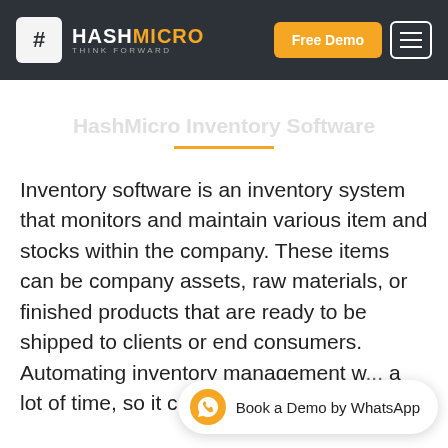HASHMICRO THINK FORWARD — Free Demo [menu button]
HashMicro Inventory Software
Inventory software is an inventory system that monitors and maintain various item and stocks within the company. These items can be company assets, raw materials, or finished products that are ready to be shipped to clients or end consumers. Automating inventory management w... a lot of time, so it can focus more on